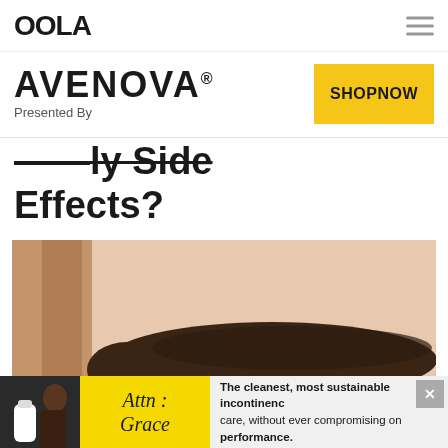OOLA
[Figure (other): Avenova advertisement banner with 'SHOPNOW' button]
Effects?
[Figure (photo): Close-up photo of a woman's eye with long eyelashes, bold eyebrow, and light blue iris]
[Figure (other): Bottom advertisement: 'Attn: Grace' with text 'The cleanest, most sustainable incontinence care, without ever compromising on performance.']